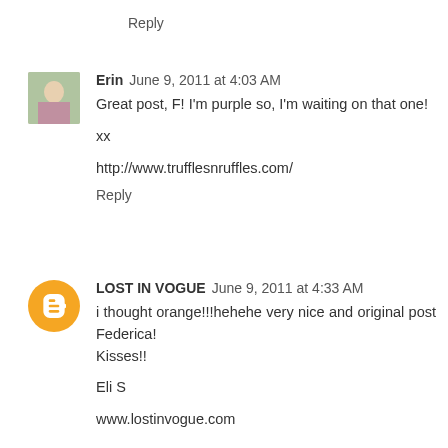Reply
Erin  June 9, 2011 at 4:03 AM
Great post, F! I'm purple so, I'm waiting on that one!

xx

http://www.trufflesnruffles.com/
Reply
LOST IN VOGUE  June 9, 2011 at 4:33 AM
i thought orange!!!hehehe very nice and original post Federica!
Kisses!!

Eli S

www.lostinvogue.com